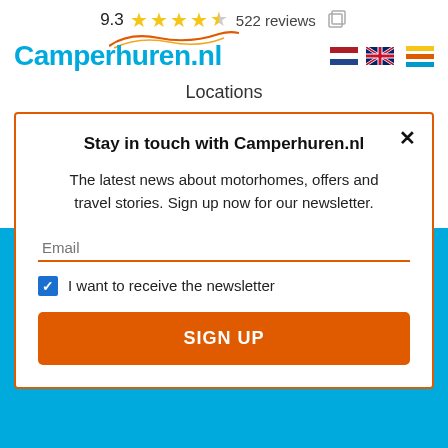9.3 ★★★★½ 522 reviews
[Figure (logo): Camperhuren.nl logo with orange/red wave above text, and navigation flags (Dutch, UK) plus hamburger menu]
Locations
Stay in touch with Camperhuren.nl
The latest news about motorhomes, offers and travel stories. Sign up now for our newsletter.
Email
I want to receive the newsletter
SIGN UP